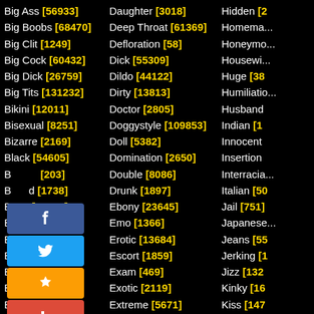Col1: Big Ass [56933], Big Boobs [68470], Big Clit [1249], Big Cock [60432], Big Dick [26759], Big Tits [131232], Bikini [12011], Bisexual [8251], Bizarre [2169], Black [54605], B... [203], B...d [1738], B... [74537], B... [304633], B...r [307], B... [15161], B... [4996], B... [060], Brazilian [8426], Bride [437], British [12492], B... [...]
Col2: Daughter [3018], Deep Throat [61369], Defloration [58], Dick [55309], Dildo [44122], Dirty [13813], Doctor [2805], Doggystyle [109853], Doll [5382], Domination [2650], Double [8086], Drunk [1897], Ebony [23645], Emo [1366], Erotic [13684], Escort [1859], Exam [469], Exotic [2119], Extreme [5671], Facesitting [4787], Facial [75596], Family [...]
Col3: Hidden [2...], Homema..., Honeymo..., Housewi..., Huge [38...], Humiliatio..., Husband..., Indian [1...], Innocent..., Insertion..., Interracia..., Italian [50...], Jail [751], Japanese..., Jeans [55...], Jerking [1...], Jizz [132...], Kinky [16...], Kiss [147...], Kitchen [9...], Korean [2...]
[Figure (other): Social share widget with Facebook, Twitter, Stumbleupon/star, and Google+/red-cross buttons overlaid on the left column]